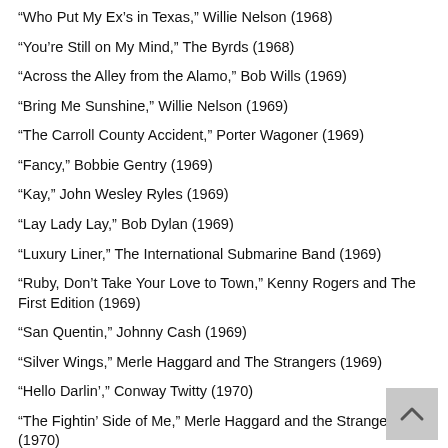“Who Put My Ex’s in Texas,” Willie Nelson (1968)
“You’re Still on My Mind,” The Byrds (1968)
“Across the Alley from the Alamo,” Bob Wills (1969)
“Bring Me Sunshine,” Willie Nelson (1969)
“The Carroll County Accident,” Porter Wagoner (1969)
“Fancy,” Bobbie Gentry (1969)
“Kay,” John Wesley Ryles (1969)
“Lay Lady Lay,” Bob Dylan (1969)
“Luxury Liner,” The International Submarine Band (1969)
“Ruby, Don’t Take Your Love to Town,” Kenny Rogers and The First Edition (1969)
“San Quentin,” Johnny Cash (1969)
“Silver Wings,” Merle Haggard and The Strangers (1969)
“Hello Darlin’,” Conway Twitty (1970)
“The Fightin’ Side of Me,” Merle Haggard and the Strangers (1970)